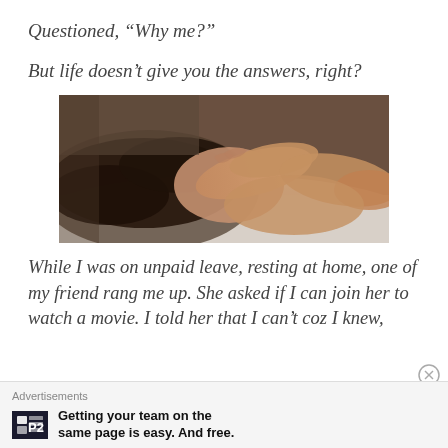Questioned, “Why me?”
But life doesn’t give you the answers, right?
[Figure (photo): A person lying down on a bed, face partially covered by their hand, appearing distressed or tired, with dark hair and warm skin tones against white bedding.]
While I was on unpaid leave, resting at home, one of my friend rang me up. She asked if I can join her to watch a movie. I told her that I can’t coz I knew,
Advertisements
Getting your team on the same page is easy. And free.